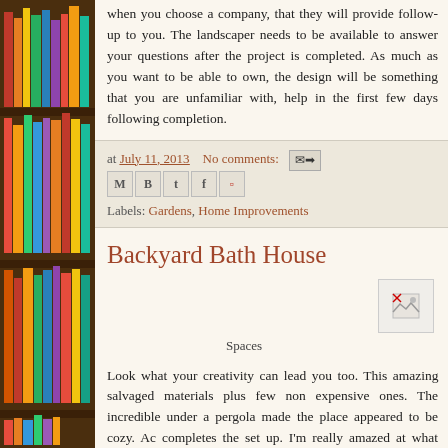[Figure (photo): Bookshelf with colorful books on the left side of the page]
when you choose a company, that they will provide follow-up to you. The landscaper needs to be available to answer your questions after the project is completed. As much as you want to be able to own, the design will be something that you are unfamiliar with, help in the first few days following completion.
at July 11, 2013   No comments:
Labels: Gardens, Home Improvements
Backyard Bath House
[Figure (photo): Small image placeholder with broken image icon]
Spaces
Look what your creativity can lead you too. This amazing salvaged materials plus few non expensive ones. The incredible under a pergola made the place appeared to be cozy. Ac completes the set up. I'm really amazed at what stone